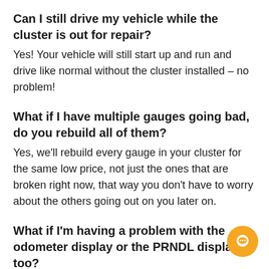Can I still drive my vehicle while the cluster is out for repair?
Yes! Your vehicle will still start up and run and drive like normal without the cluster installed – no problem!
What if I have multiple gauges going bad, do you rebuild all of them?
Yes, we'll rebuild every gauge in your cluster for the same low price, not just the ones that are broken right now, that way you don't have to worry about the others going out on you later on.
What if I'm having a problem with the odometer display or the PRNDL display too?
No problem and no extra charge, we'll repair the